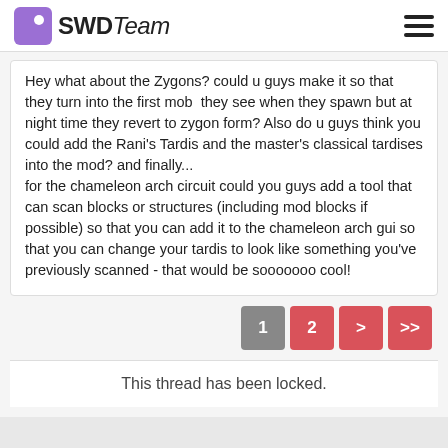SWDTeam
Hey what about the Zygons? could u guys make it so that they turn into the first mob they see when they spawn but at night time they revert to zygon form? Also do u guys think you could add the Rani's Tardis and the master's classical tardises into the mod? and finally... for the chameleon arch circuit could you guys add a tool that can scan blocks or structures (including mod blocks if possible) so that you can add it to the chameleon arch gui so that you can change your tardis to look like something you've previously scanned - that would be sooooooo cool!
This thread has been locked.